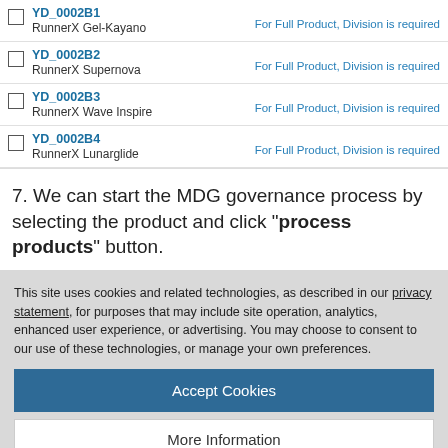YD_0002B1 RunnerX Gel-Kayano — For Full Product, Division is required
YD_0002B2 RunnerX Supernova — For Full Product, Division is required
YD_0002B3 RunnerX Wave Inspire — For Full Product, Division is required
YD_0002B4 RunnerX Lunarglide — For Full Product, Division is required
7. We can start the MDG governance process by selecting the product and click "process products" button.
This site uses cookies and related technologies, as described in our privacy statement, for purposes that may include site operation, analytics, enhanced user experience, or advertising. You may choose to consent to our use of these technologies, or manage your own preferences.
Accept Cookies
More Information
Privacy Policy | Powered by: TrustArc